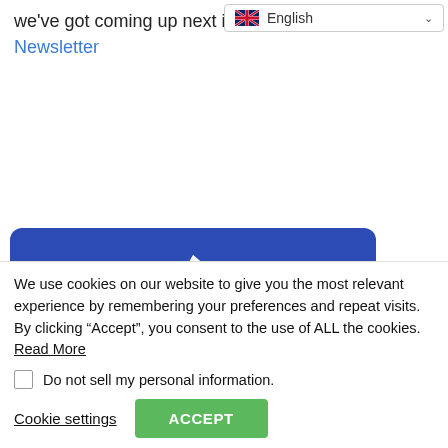English (language selector dropdown)
we've got coming up next in our Quarterly Newsletter
[Figure (infographic): Blue rounded card with a white paper plane icon and bold white text: 'Want the latest news on GNE Myopathy, community updates,']
We use cookies on our website to give you the most relevant experience by remembering your preferences and repeat visits. By clicking “Accept”, you consent to the use of ALL the cookies. Read More
Do not sell my personal information.
Cookie settings  ACCEPT